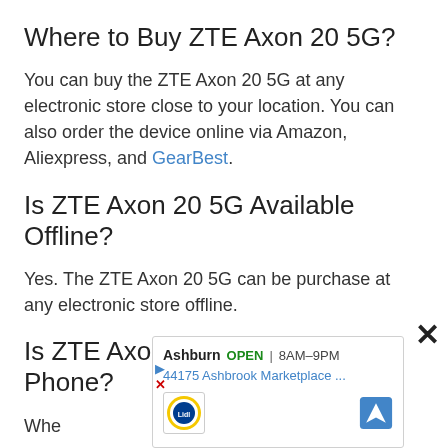Where to Buy ZTE Axon 20 5G?
You can buy the ZTE Axon 20 5G at any electronic store close to your location. You can also order the device online via Amazon, Aliexpress, and GearBest.
Is ZTE Axon 20 5G Available Offline?
Yes. The ZTE Axon 20 5G can be purchase at any electronic store offline.
Is ZTE Axon 20 5G a Good Phone?
Whe sure mos cam ... The mile
[Figure (screenshot): Ad overlay showing Ashburn store OPEN 8AM-9PM, address 44175 Ashbrook Marketplace ..., with Lidl logo and navigation arrow icon]